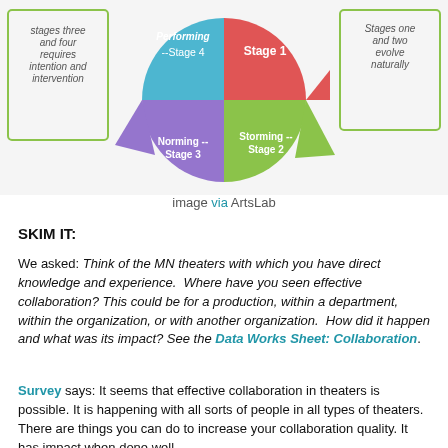[Figure (infographic): Circular diagram showing Tuckman's stages of team development. Four quadrants: Performing (Stage 4, blue, top-left), Stage 1 (red, top-right), Storming Stage 2 (green, bottom-right), Norming Stage 3 (purple, bottom-left). Left side label: stages three and four requires intention and intervention. Right side label: Stages one and two evolve naturally.]
image via ArtsLab
SKIM IT:
We asked: Think of the MN theaters with which you have direct knowledge and experience.  Where have you seen effective collaboration? This could be for a production, within a department, within the organization, or with another organization.  How did it happen and what was its impact? See the Data Works Sheet: Collaboration.
Survey says: It seems that effective collaboration in theaters is possible. It is happening with all sorts of people in all types of theaters.  There are things you can do to increase your collaboration quality. It has impact when done well.